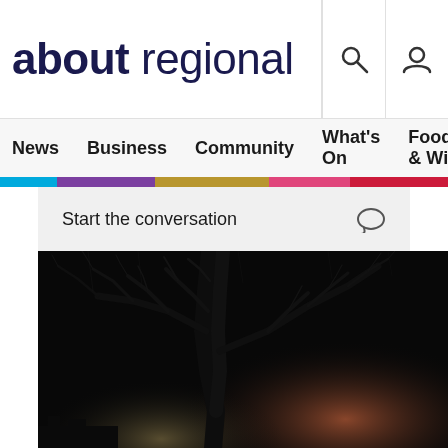about regional
News  Business  Community  What's On  Food & Wi
Start the conversation
[Figure (photo): Night-time photograph of a bare deciduous tree silhouetted against a dark sky with warm amber glow in the lower right, likely lit by street lamps or a fire]